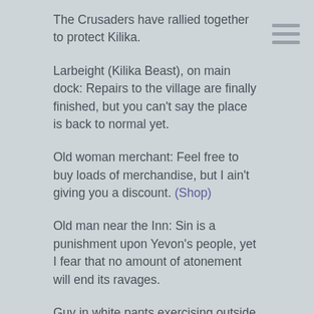The Crusaders have rallied together to protect Kilika.
Larbeight (Kilika Beast), on main dock: Repairs to the village are finally finished, but you can't say the place is back to normal yet.
Old woman merchant: Feel free to buy loads of merchandise, but I ain't giving you a discount. (Shop)
Old man near the Inn: Sin is a punishment upon Yevon's people, yet I fear that no amount of atonement will end its ravages.
Guy in white pants exercising outside inn: Sin's been quiet lately, I hear. Probably off somewhere saving all its energy for a big assault.
Woman in white gazing out to sea: You can always fix what's broken, but you can't bring back the dead. I have